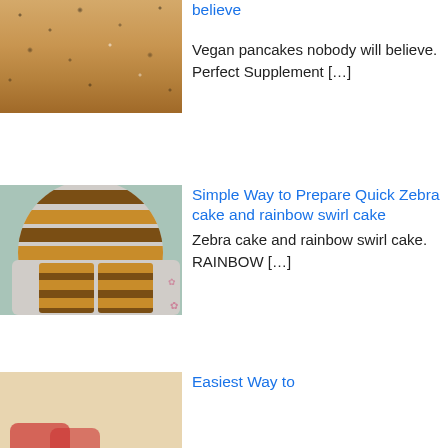[Figure (photo): Close-up of vegan pancakes cooking, showing bubbly batter surface with golden-brown color]
believe
Vegan pancakes nobody will believe. Perfect Supplement [...]
[Figure (photo): Zebra cake on a white plate with pink flower pattern, showing striped cross-section slices]
Simple Way to Prepare Quick Zebra cake and rainbow swirl cake
Zebra cake and rainbow swirl cake. RAINBOW [...]
[Figure (photo): Partial view of a dish with strawberries]
Easiest Way to